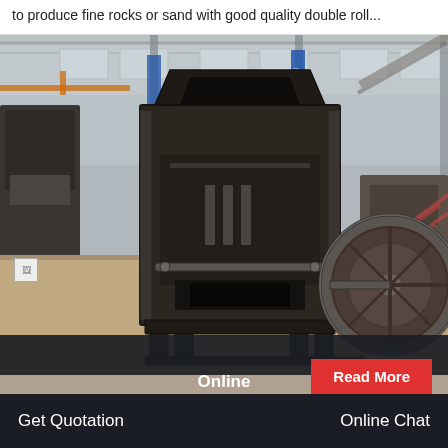to produce fine rocks or sand with good quality double roll...
[Figure (photo): Industrial jaw crusher machine photographed in a large factory warehouse. The heavy black iron crusher body is in the center with a large flywheel visible to the right. Multiple similar machines visible in the background. Factory has steel-frame roof with skylights.]
Read More
Online
Get Quotation    Online Chat